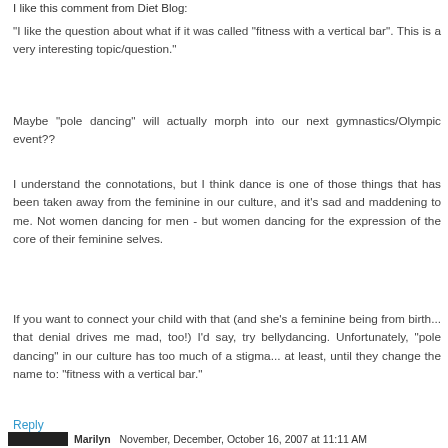I like this comment from Diet Blog:
"I like the question about what if it was called "fitness with a vertical bar". This is a very interesting topic/question."
Maybe "pole dancing" will actually morph into our next gymnastics/Olympic event??
I understand the connotations, but I think dance is one of those things that has been taken away from the feminine in our culture, and it's sad and maddening to me. Not women dancing for men - but women dancing for the expression of the core of their feminine selves.
If you want to connect your child with that (and she's a feminine being from birth... that denial drives me mad, too!) I'd say, try bellydancing. Unfortunately, "pole dancing" in our culture has too much of a stigma... at least, until they change the name to: "fitness with a vertical bar."
Reply
Marilyn    November, December, October 16, 2007 at 11:11 AM